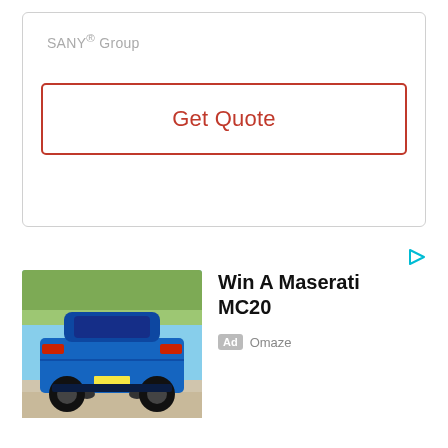SANY® Group
Get Quote
[Figure (photo): Rear view of a blue Maserati MC20 sports car on a road with trees in background]
Win A Maserati MC20
Ad Omaze